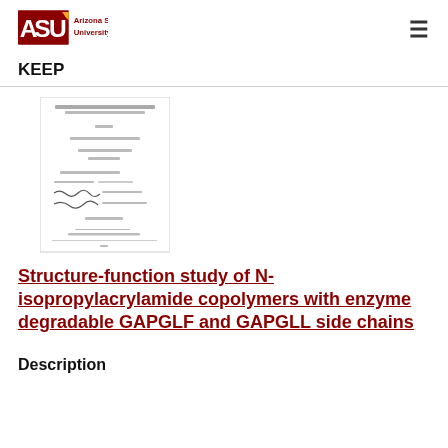Arizona State University — KEEP
[Figure (other): Thumbnail image of a document/thesis title page with signatures, small unreadable text]
Structure-function study of N-isopropylacrylamide copolymers with enzyme degradable GAPGLF and GAPGLL side chains
Description
With no additional text visible (cut off)